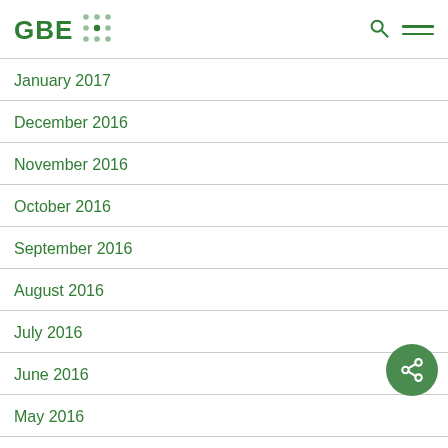GBE
January 2017
December 2016
November 2016
October 2016
September 2016
August 2016
July 2016
June 2016
May 2016